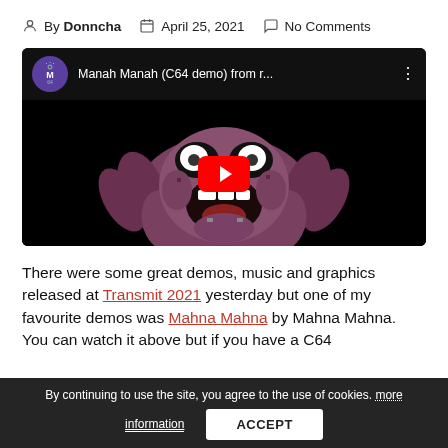By Donncha   April 25, 2021   No Comments
[Figure (screenshot): YouTube video thumbnail showing 'Manah Manah (C64 demo) from r...' with a pixelated Muppet character on a black background and a red play button overlay.]
There were some great demos, music and graphics released at Transmit 2021 yesterday but one of my favourite demos was Mahna Mahna by Mahna Mahna. You can watch it above but if you have a C64
By continuing to use the site, you agree to the use of cookies. more information
ACCEPT